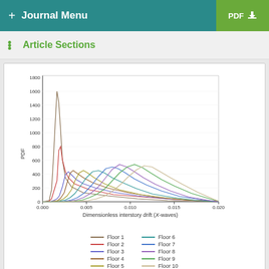+ Journal Menu | PDF
Article Sections
[Figure (continuous-plot): PDF curves of dimensionless interstory drift (X-waves) for floors 1 through 10. The y-axis shows PDF values from 0 to 1800. The x-axis shows dimensionless interstory drift from 0.000 to 0.020. Lower floors (1-2) have very tall narrow peaks near 0.001-0.002; higher floors have broader, lower peaks that shift rightward.]
(a)
[Figure (continuous-plot): Three thumbnail charts showing similar PDF distribution plots, partially visible at bottom of page.]